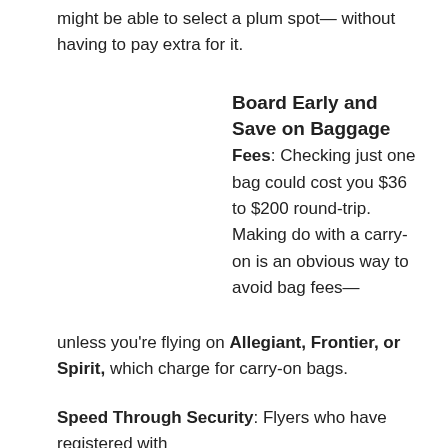might be able to select a plum spot— without having to pay extra for it.
Board Early and Save on Baggage Fees
Fees: Checking just one bag could cost you $36 to $200 round-trip. Making do with a carry-on is an obvious way to avoid bag fees— unless you're flying on Allegiant, Frontier, or Spirit, which charge for carry-on bags.
Speed Through Security: Flyers who have registered with